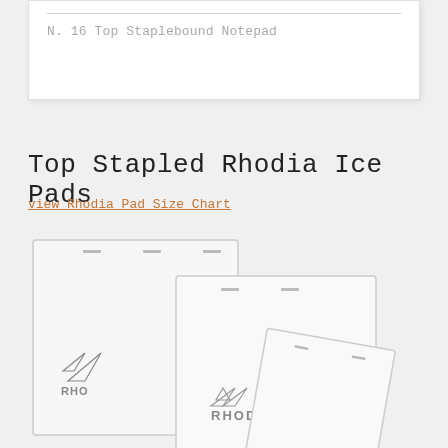N. 16 Top Staplebound Notepad
Top Stapled Rhodia Ice Pads
view Rhodia Pad Size Chart
[Figure (photo): Three Rhodia Ice Pads shown overlapping: two upright notepads (one larger behind, one medium in front) and one smaller pad tilted at an angle in front, all white/translucent with RHODIA logo and mountain graphic.]